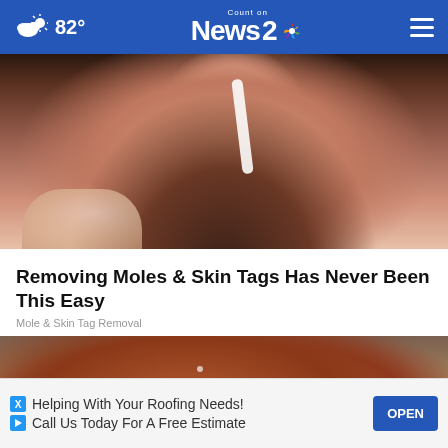82° Count on News 2 NBC
[Figure (photo): Close-up photo of a woman applying a nose strip or peel-off mask to her nose and face area]
Removing Moles & Skin Tags Has Never Been This Easy
Mole & Skin Tag Removal
[Figure (photo): Close-up photo of a hand with small skin tags or warts with water droplets]
Helping With Your Roofing Needs! Call Us Today For A Free Estimate  OPEN